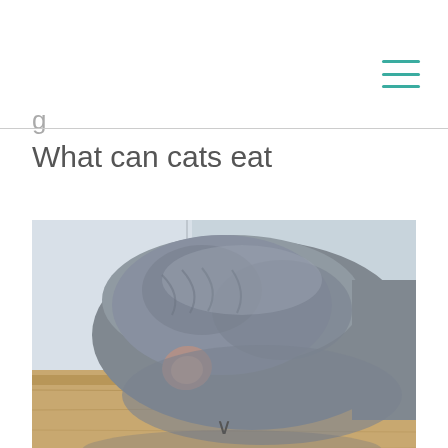≡
What can cats eat
[Figure (photo): Close-up photograph of a grey cat lying down, viewed from above, showing the top of its head and one ear against a wooden floor background.]
∨